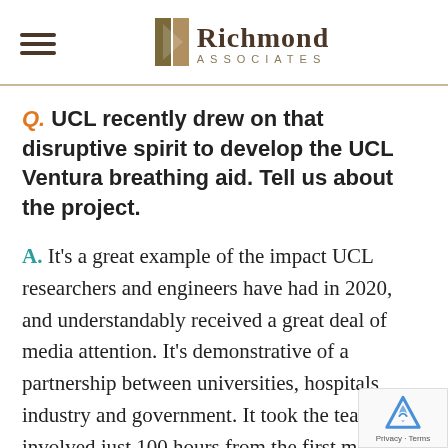Richmond Associates
Q. UCL recently drew on that disruptive spirit to develop the UCL Ventura breathing aid. Tell us about the project.
A. It's a great example of the impact UCL researchers and engineers have had in 2020, and understandably received a great deal of media attention. It's demonstrative of a partnership between universities, hospitals, industry and government. It took the tea involved just 100 hours from the first me